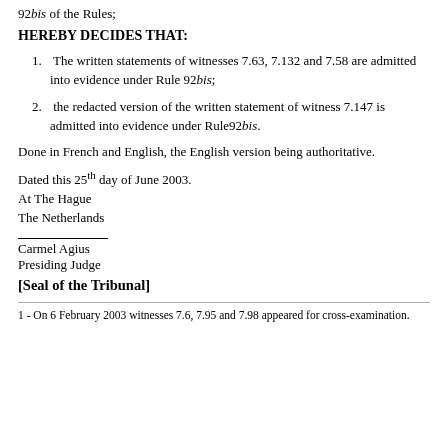92bis of the Rules;
HEREBY DECIDES THAT:
1. The written statements of witnesses 7.63, 7.132 and 7.58 are admitted into evidence under Rule 92bis;
2. the redacted version of the written statement of witness 7.147 is admitted into evidence under Rule92bis.
Done in French and English, the English version being authoritative.
Dated this 25th day of June 2003.
At The Hague
The Netherlands
Carmel Agius
Presiding Judge
[Seal of the Tribunal]
1 - On 6 February 2003 witnesses 7.6, 7.95 and 7.98 appeared for cross-examination.